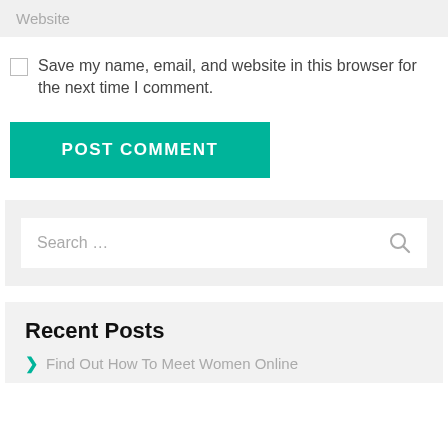Website
Save my name, email, and website in this browser for the next time I comment.
POST COMMENT
Search …
Recent Posts
Find Out How To Meet Women Online